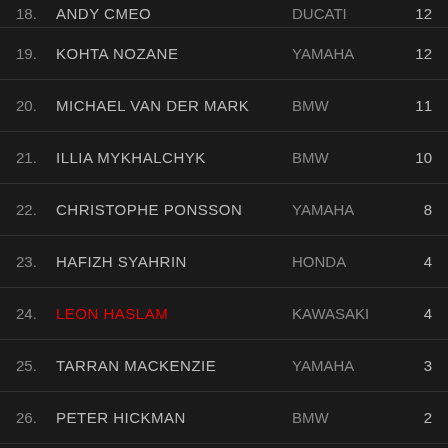| # | NAME | BRAND | PTS |
| --- | --- | --- | --- |
| 18. | ANDY CMEO | DUCATI | 12 |
| 19. | KOHTA NOZANE | YAMAHA | 12 |
| 20. | MICHAEL VAN DER MARK | BMW | 11 |
| 21. | ILLIA MYKHALCHYK | BMW | 10 |
| 22. | CHRISTOPHE PONSSON | YAMAHA | 8 |
| 23. | HAFIZH SYAHRIN | HONDA | 4 |
| 24. | LEON HASLAM | KAWASAKI | 4 |
| 25. | TARRAN MACKENZIE | YAMAHA | 3 |
| 26. | PETER HICKMAN | BMW | 2 |
| 27. | LEANDRO MERCADO | HONDA | 2 |
LATEST NEWS:
MARCH 1, 2020